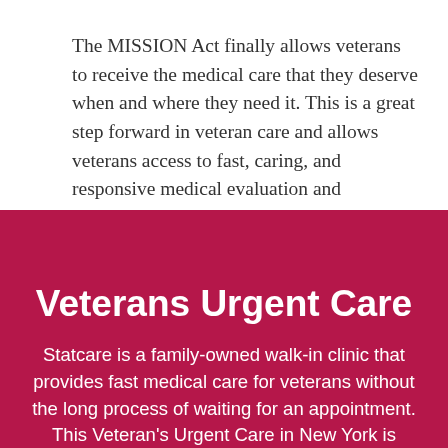The MISSION Act finally allows veterans to receive the medical care that they deserve when and where they need it. This is a great step forward in veteran care and allows veterans access to fast, caring, and responsive medical evaluation and treatment.
Veterans Urgent Care
Statcare is a family-owned walk-in clinic that provides fast medical care for veterans without the long process of waiting for an appointment. This Veteran's Urgent Care in New York is available 365 days a year with five convenient locations in Long